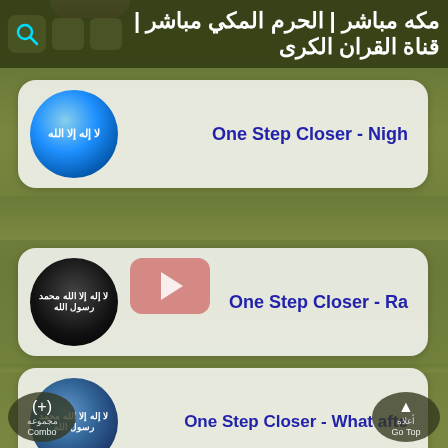مكة مباشر | الحرم المكي مباشر | قناة القران الكريم
[Figure (screenshot): App list item card 1 with circular thumbnail showing blue sky/water Islamic calligraphy and text: One Step Closer - Nigh...]
[Figure (screenshot): App list item card 2 with circular black thumbnail showing Arabic calligraphy, YouTube-style play button overlay, and text: One Step Closer - Ra...]
[Figure (screenshot): App list item card 3 with circular blue/dark thumbnail showing Arabic calligraphy and text: One Step Closer - What afte...]
مجموعة (+) Combo | أعلاه ▲ Go Top